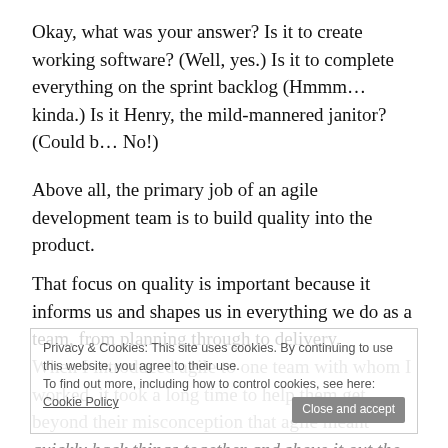Okay, what was your answer? Is it to create working software? (Well, yes.) Is it to complete everything on the sprint backlog (Hmmm… kinda.) Is it Henry, the mild-mannered janitor? (Could b… No!)
Above all, the primary job of an agile development team is to build quality into the product.
That focus on quality is important because it informs us and shapes us in everything we do as a team, from planning through to delivery.
When I introduced agile to one team with whom I worked, it took a long time to help them get beyond their misconception that agile meant quickly hack things together and shove it out the door. Release early and release often—yes; but hack? no! Done well, agile should be more disciplined